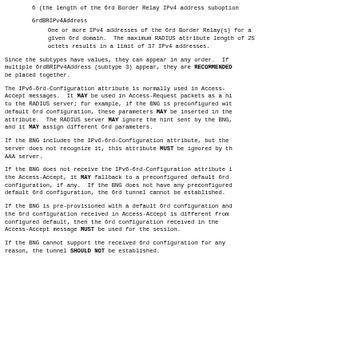6 (the length of the 6rd Border Relay IPv4 address suboption
6rdBRIPv4Address
One or more IPv4 addresses of the 6rd Border Relay(s) for a given 6rd domain.  The maximum RADIUS attribute length of 25 octets results in a limit of 37 IPv4 addresses.
Since the subtypes have values, they can appear in any order.  If multiple 6rdBRIPv4Address (subtype 3) appear, they are RECOMMENDED be placed together.
The IPv6-6rd-Configuration attribute is normally used in Access-Accept messages.  It MAY be used in Access-Request packets as a hi to the RADIUS server; for example, if the BNG is preconfigured wit default 6rd configuration, these parameters MAY be inserted in the attribute.  The RADIUS server MAY ignore the hint sent by the BNG, and it MAY assign different 6rd parameters.
If the BNG includes the IPv6-6rd-Configuration attribute, but the server does not recognize it, this attribute MUST be ignored by th AAA server.
If the BNG does not receive the IPv6-6rd-Configuration attribute i the Access-Accept, it MAY fallback to a preconfigured default 6rd configuration, if any.  If the BNG does not have any preconfigured default 6rd configuration, the 6rd tunnel cannot be established.
If the BNG is pre-provisioned with a default 6rd configuration and the 6rd configuration received in Access-Accept is different from configured default, then the 6rd configuration received in the Access-Accept message MUST be used for the session.
If the BNG cannot support the received 6rd configuration for any reason, the tunnel SHOULD NOT be established.